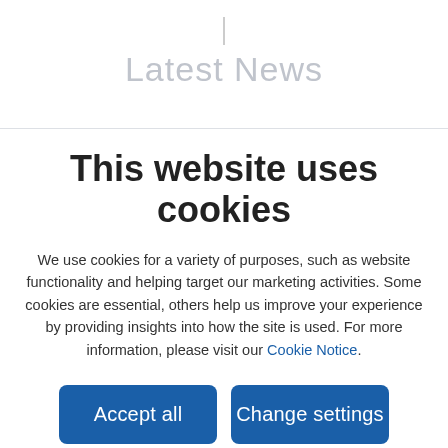Latest News
This website uses cookies
We use cookies for a variety of purposes, such as website functionality and helping target our marketing activities. Some cookies are essential, others help us improve your experience by providing insights into how the site is used. For more information, please visit our Cookie Notice.
Accept all
Change settings